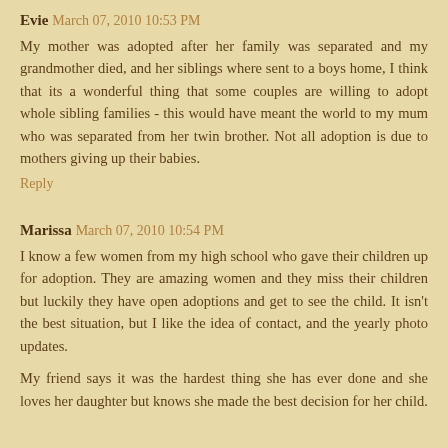Evie  March 07, 2010 10:53 PM
My mother was adopted after her family was separated and my grandmother died, and her siblings where sent to a boys home, I think that its a wonderful thing that some couples are willing to adopt whole sibling families - this would have meant the world to my mum who was separated from her twin brother. Not all adoption is due to mothers giving up their babies.
Reply
Marissa  March 07, 2010 10:54 PM
I know a few women from my high school who gave their children up for adoption. They are amazing women and they miss their children but luckily they have open adoptions and get to see the child. It isn't the best situation, but I like the idea of contact, and the yearly photo updates.
My friend says it was the hardest thing she has ever done and she loves her daughter but knows she made the best decision for her child.